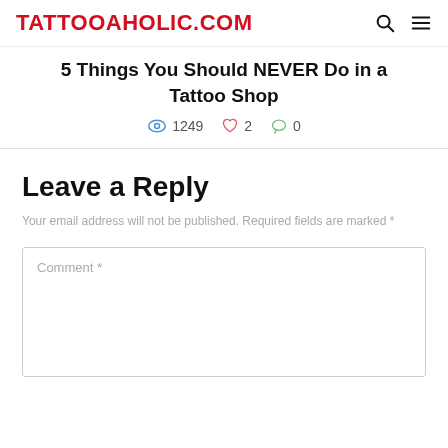TATTOOAHOLIC.COM
5 Things You Should NEVER Do in a Tattoo Shop
1249   2   0
Leave a Reply
Your email address will not be published. Required fields are marked *
Comment *